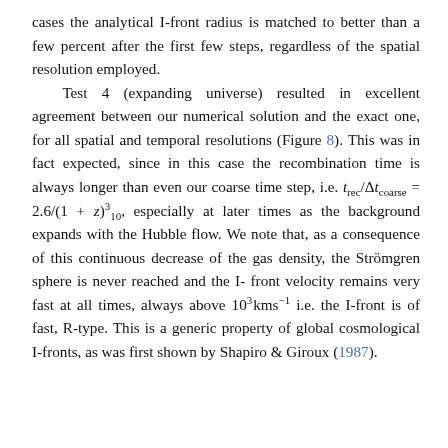cases the analytical I-front radius is matched to better than a few percent after the first few steps, regardless of the spatial resolution employed.
Test 4 (expanding universe) resulted in excellent agreement between our numerical solution and the exact one, for all spatial and temporal resolutions (Figure 8). This was in fact expected, since in this case the recombination time is always longer than even our coarse time step, i.e. t_rec/Δt_coarse = 2.6/(1 + z)^3_10, especially at later times as the background expands with the Hubble flow. We note that, as a consequence of this continuous decrease of the gas density, the Strömgren sphere is never reached and the I-front velocity remains very fast at all times, always above 10^3 kms^-1 i.e. the I-front is of fast, R-type. This is a generic property of global cosmological I-fronts, as was first shown by Shapiro & Giroux (1987).